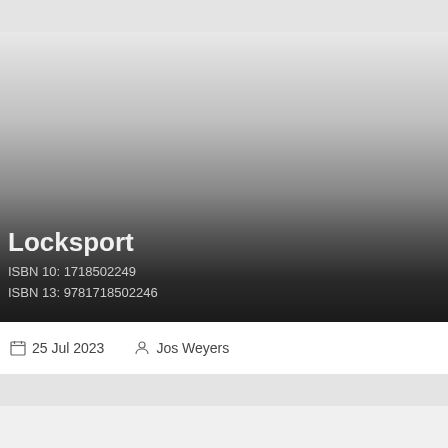[Figure (photo): Book cover or header image with a dark gradient overlay fading from light gray at top to near-black at bottom]
Locksport
ISBN 10: 1718502249
ISBN 13: 9781718502246
25 Jul 2023   Jos Weyers